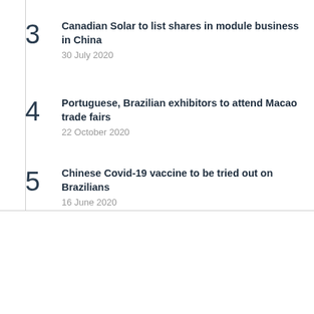3 Canadian Solar to list shares in module business in China
30 July 2020
4 Portuguese, Brazilian exhibitors to attend Macao trade fairs
22 October 2020
5 Chinese Covid-19 vaccine to be tried out on Brazilians
16 June 2020